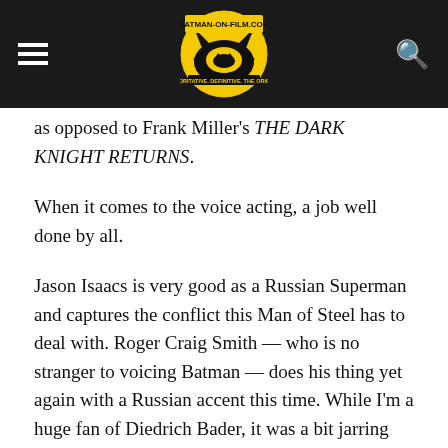BATMAN-ON-FILM.COM — AUTHORITATIVE. DEFINITIVE. THE ORIGINAL. EST. 1998
as opposed to Frank Miller's THE DARK KNIGHT RETURNS.
When it comes to the voice acting, a job well done by all.
Jason Isaacs is very good as a Russian Superman and captures the conflict this Man of Steel has to deal with. Roger Craig Smith — who is no stranger to voicing Batman — does his thing yet again with a Russian accent this time. While I'm a huge fan of Diedrich Bader, it was a bit jarring for me to hear him voicing Lex Luthor and not Batman as I love his Batman voice from BATMAN: THE BRAVE AND THE BOLD.  Props also go out to Amy Acker as Lois Lane-Luthor (Yup!) and Vanessa Marshall as Wonder Woman.  And Paul Williams (who is a brilliant songwriter and also voiced The Penguin in BATMAN: THE ANIMATED SERIES) as Brainiac